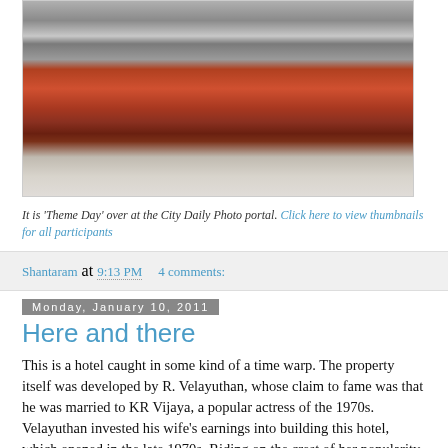[Figure (photo): A red cylindrical post box or bollard against a white textured wall, viewed close up at ground level]
It is 'Theme Day' over at the City Daily Photo portal. Click here to view thumbnails for all participants
Shantaram at 9:13 PM    4 comments:
Monday, January 10, 2011
Here and there
This is a hotel caught in some kind of a time warp. The property itself was developed by R. Velayuthan, whose claim to fame was that he was married to KR Vijaya, a popular actress of the 1970s. Velayuthan invested his wife's earnings into building this hotel, which opened in the late 1970s. Riding on the crest of her popularity, Hotel Sudarshan, as it